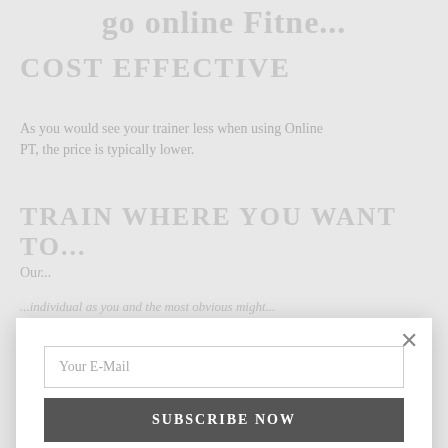go online Fitne...
COST EFFECTIVE
As you would see your trainer less when using Online PT, the price is typically lower.
TRAIN WHERE YOU WANT TO...
Our...
...individual as you and the most obvious might...
LOWERS THE BARRIERS OF STARTING
[Figure (screenshot): Email subscription modal popup with 'Your E-Mail' input field, 'SUBSCRIBE NOW' button, close X button, and checkbox 'I would like to receive news and special offers.']
Our site uses cookies. Learn more about our use of cookies: Cookie Policy
ACCEPT